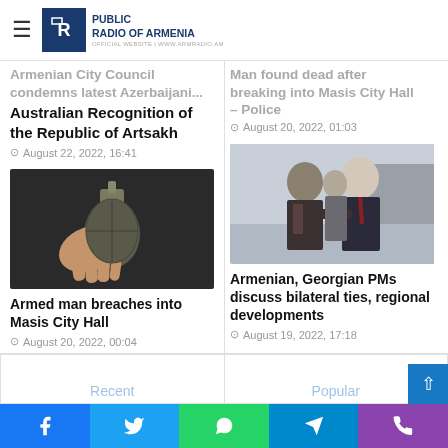Public Radio of Armenia
Armenian City Council condemns latest Azerbaijani... Australian Recognition of the Republic of Artsakh
August 22, 2022, 16:41
Man found dead after breaking into Masis City Hall – Police
August 20, 2022, 01:03
[Figure (photo): A hand holding a grenade]
Armed man breaches into Masis City Hall
August 20, 2022, 00:04
[Figure (photo): Armenian and Georgian Prime Ministers shaking hands]
Armenian, Georgian PMs discuss bilateral ties, regional developments
August 19, 2022, 17:18
Recent
Popular